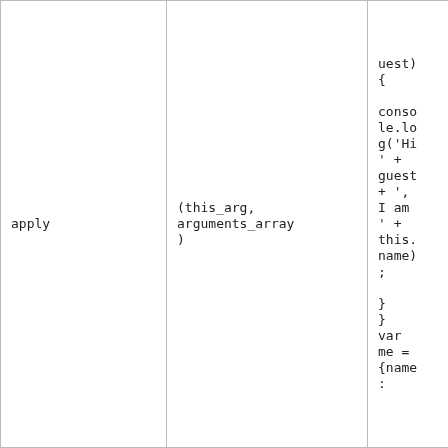|  |  |  |
| --- | --- | --- |
| apply | (this_arg,
arguments_array
) | uest)
{

conso
le.lo
g('Hi
' +
guest
+ ',
I am
' +
this.
name)
;

}
}
var
me =
{name
: |